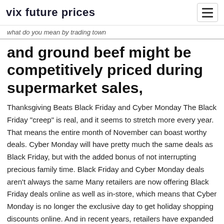vix future prices
what do you mean by trading town
and ground beef might be competitively priced during supermarket sales,
Thanksgiving Beats Black Friday and Cyber Monday The Black Friday "creep" is real, and it seems to stretch more every year. That means the entire month of November can boast worthy deals. Cyber Monday will have pretty much the same deals as Black Friday, but with the added bonus of not interrupting precious family time. Black Friday and Cyber Monday deals aren't always the same Many retailers are now offering Black Friday deals online as well as in-store, which means that Cyber Monday is no longer the exclusive day to get holiday shopping discounts online. And in recent years, retailers have expanded their Black Friday sales to cover the entire Thanksgiving weekend, Many stores continue their Black Friday sales through the entire weekend and online, so bundling up to